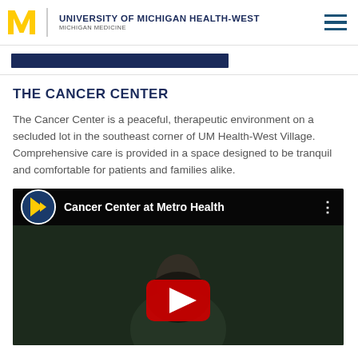UNIVERSITY OF MICHIGAN HEALTH-WEST | MICHIGAN MEDICINE
THE CANCER CENTER
The Cancer Center is a peaceful, therapeutic environment on a secluded lot in the southeast corner of UM Health-West Village. Comprehensive care is provided in a space designed to be tranquil and comfortable for patients and families alike.
[Figure (screenshot): Embedded YouTube video titled 'Cancer Center at Metro Health' with University of Michigan Health-West branding, showing a dark video thumbnail with a person and a YouTube play button overlay.]